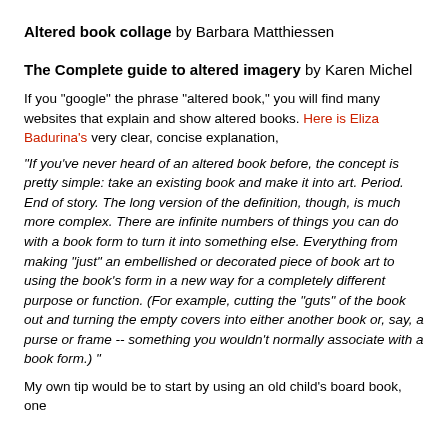Altered book collage by Barbara Matthiessen
The Complete guide to altered imagery by Karen Michel
If you "google" the phrase "altered book," you will find many websites that explain and show altered books. Here is Eliza Badurina's very clear, concise explanation,
"If you've never heard of an altered book before, the concept is pretty simple: take an existing book and make it into art. Period. End of story. The long version of the definition, though, is much more complex. There are infinite numbers of things you can do with a book form to turn it into something else. Everything from making "just" an embellished or decorated piece of book art to using the book's form in a new way for a completely different purpose or function. (For example, cutting the "guts" of the book out and turning the empty covers into either another book or, say, a purse or frame -- something you wouldn't normally associate with a book form.) "
My own tip would be to start by using an old child's board book, one